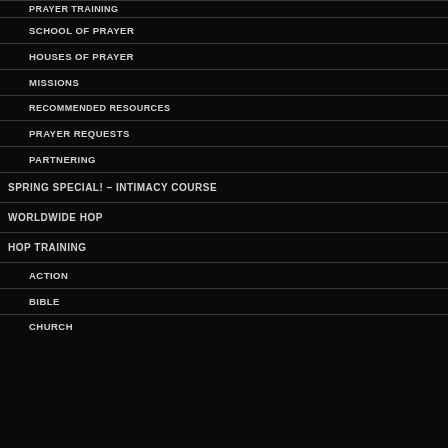PRAYER TRAINING
SCHOOL OF PRAYER
HOUSES OF PRAYER
MISSIONS
RECOMMENDED RESOURCES
PRAYER REQUESTS
PARTNERING
SPRING SPECIAL! – INTIMACY COURSE
WORLDWIDE HOP
HOP TRAINING
ACTION
BIBLE
CHURCH